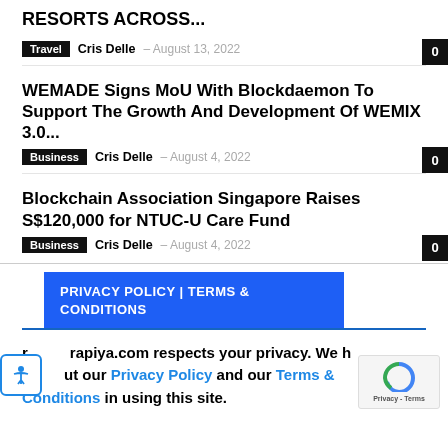RESORTS ACROSS...
Travel  Cris Delle  –  August 13, 2022   0
WEMADE Signs MoU With Blockdaemon To Support The Growth And Development Of WEMIX 3.0...
Business  Cris Delle  –  August 4, 2022   0
Blockchain Association Singapore Raises S$120,000 for NTUC-U Care Fund
Business  Cris Delle  –  August 4, 2022   0
PRIVACY POLICY | TERMS & CONDITIONS
rapiya.com respects your privacy. We h... ut our Privacy Policy and our Terms & Conditions in using this site.